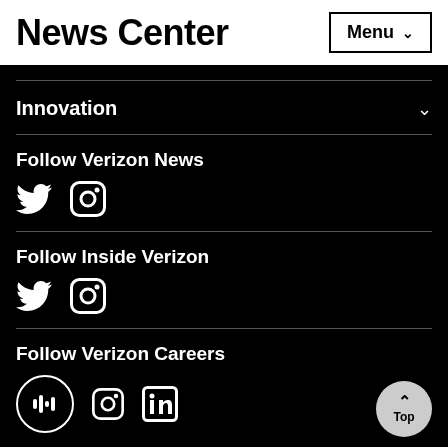News Center
Innovation
Follow Verizon News
[Figure (illustration): Twitter and Instagram social media icons in white on black background]
Follow Inside Verizon
[Figure (illustration): Twitter and Instagram social media icons in white on black background]
Follow Verizon Careers
[Figure (illustration): Podcast, Instagram, and LinkedIn social media icons in white on black background, with a 'Top' back-to-top button]
Follow Customer Support